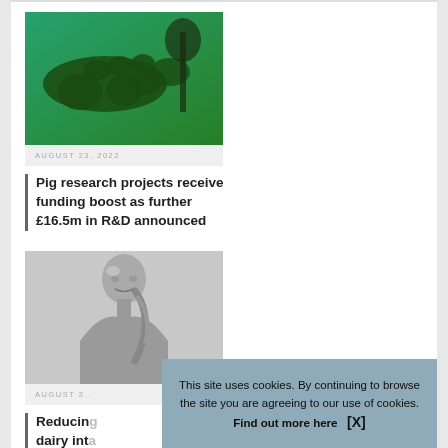[Figure (photo): Close-up photo of a green caterpillar or insect on a green textured background]
AUGUST 23, 2022
Pig research projects receive funding boost as further £16.5m in R&D announced
[Figure (photo): Silver metallic human figure (woman with braided hair) on light grey background]
AUGUST 2...
Reducing... dairy int... increase...
This site uses cookies. By continuing to browse the site you are agreeing to our use of cookies. Find out more here   [X]